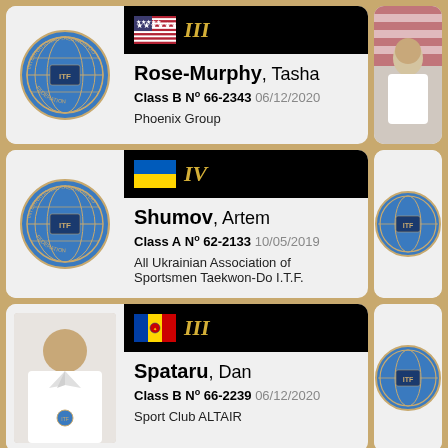[Figure (other): Card 1: ITF logo, US flag, grade III, Rose-Murphy Tasha, Class B No 66-2343 06/12/2020, Phoenix Group, photo of person in white gi with US flag]
[Figure (other): Card 2: ITF logo, Ukraine flag, grade IV, Shumov Artem, Class A No 62-2133 10/05/2019, All Ukrainian Association of Sportsmen Taekwon-Do I.T.F., partial ITF logo on right]
[Figure (other): Card 3: Photo of young man in white dobok, Moldova flag, grade III, Spataru Dan, Class B No 66-2239 06/12/2020, Sport Club ALTAIR, partial ITF logo on right]